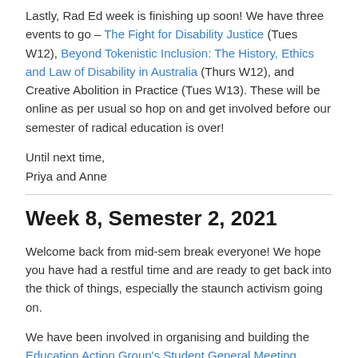Lastly, Rad Ed week is finishing up soon! We have three events to go – The Fight for Disability Justice (Tues W12), Beyond Tokenistic Inclusion: The History, Ethics and Law of Disability in Australia (Thurs W12), and Creative Abolition in Practice (Tues W13). These will be online as per usual so hop on and get involved before our semester of radical education is over!
Until next time,
Priya and Anne
Week 8, Semester 2, 2021
Welcome back from mid-sem break everyone! We hope you have had a restful time and are ready to get back into the thick of things, especially the staunch activism going on.
We have been involved in organising and building the Education Action Group's Student General Meeting (SGM) which is happening on Thursday 27th of October. This SGM